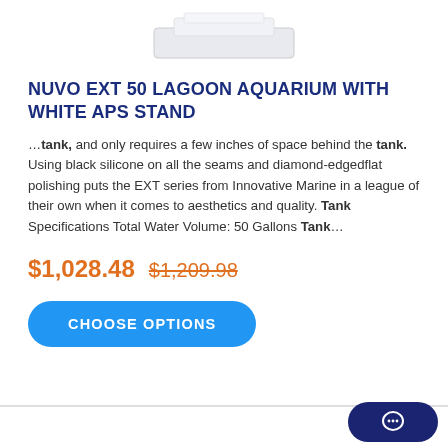[Figure (photo): Partial product image of an aquarium with white stand, cropped at top of page]
NUVO EXT 50 LAGOON AQUARIUM WITH WHITE APS STAND
…tank, and only requires a few inches of space behind the tank. Using black silicone on all the seams and diamond-edgedflat polishing puts the EXT series from Innovative Marine in a league of their own when it comes to aesthetics and quality. Tank Specifications Total Water Volume: 50 Gallons Tank…
$1,028.48  $1,209.98
CHOOSE OPTIONS